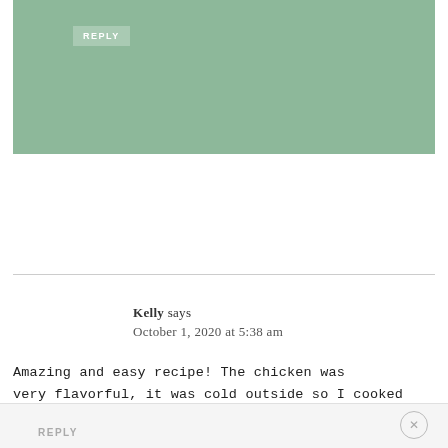[Figure (other): Green background bar with a REPLY button in the upper portion of the page]
Kelly says
October 1, 2020 at 5:38 am
Amazing and easy recipe! The chicken was very flavorful, it was cold outside so I cooked it by searing the chicken in a pan and finishing in the oven at 400 for 10-12 minutes. Came out perfect!
★★★★★
REPLY